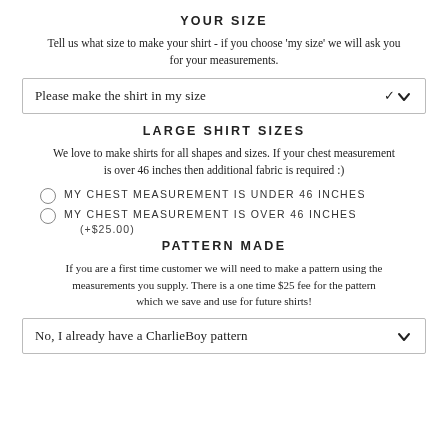YOUR SIZE
Tell us what size to make your shirt - if you choose 'my size' we will ask you for your measurements.
[Figure (screenshot): Dropdown box with text 'Please make the shirt in my size' and a chevron]
LARGE SHIRT SIZES
We love to make shirts for all shapes and sizes. If your chest measurement is over 46 inches then additional fabric is required :)
MY CHEST MEASUREMENT IS UNDER 46 INCHES
MY CHEST MEASUREMENT IS OVER 46 INCHES (+$25.00)
PATTERN MADE
If you are a first time customer we will need to make a pattern using the measurements you supply. There is a one time $25 fee for the pattern which we save and use for future shirts!
[Figure (screenshot): Dropdown box with text 'No, I already have a CharlieBoy pattern' and a chevron]